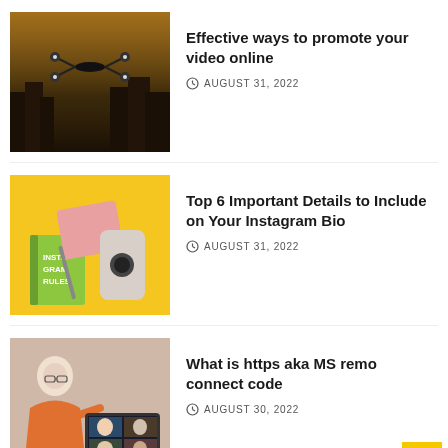[Figure (photo): Drone flying in a dark cinematic cityscape scene]
Effective ways to promote your video online
AUGUST 31, 2022
[Figure (photo): Instagram Rules book, notebook, phone case and pen on a yellow background]
Top 6 Important Details to Include on Your Instagram Bio
AUGUST 31, 2022
[Figure (photo): Person on video call with multiple participants on laptop screen]
What is https aka MS remo connect code
AUGUST 30, 2022